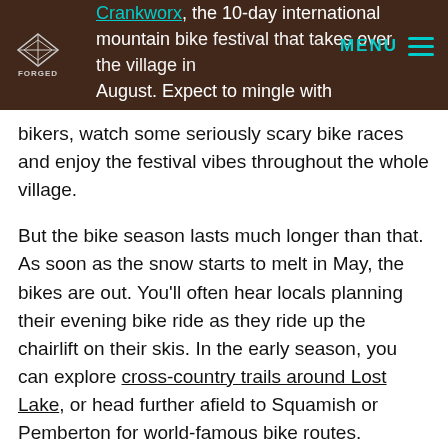Crankworx, the 10-day international mountain bike festival that takes over the village in August. Expect to mingle with professional bikers, watch some seriously scary bike races and enjoy the festival vibes throughout the whole village.
But the bike season lasts much longer than that. As soon as the snow starts to melt in May, the bikes are out. You'll often hear locals planning their evening bike ride as they ride up the chairlift on their skis. In the early season, you can explore cross-country trails around Lost Lake, or head further afield to Squamish or Pemberton for world-famous bike routes.
Whistler Mountain Bike Park
The Whistler Mountain Bike Park opens in May and stays open until October. For the hardcore,